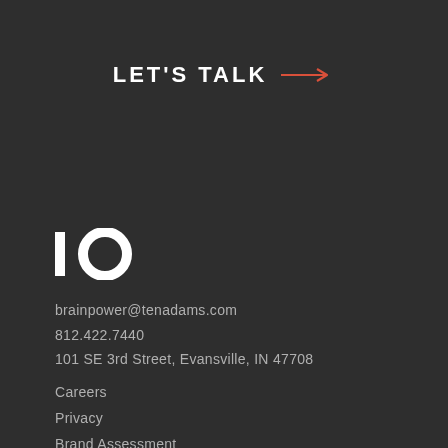LET'S TALK →
[Figure (logo): IO logo mark — vertical bar followed by circle, white on dark background]
brainpower@tenadams.com
812.422.7440
101 SE 3rd Street, Evansville, IN 47708
Careers
Privacy
Brand Assessment
Digital Assessment